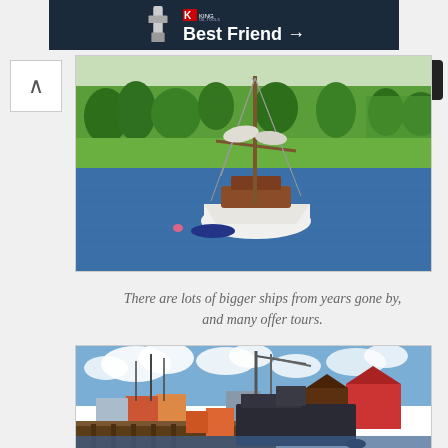[Figure (photo): King Oil Tools advertisement banner with dark background, showing a tool image on the left, the King Oil Tools logo, and text reading 'Best Friend →']
[Figure (photo): A wooden sailboat moored on calm blue water with green grassy hills and trees in the background. The boat has tall masts with rigging and a white/dark hull.]
There are lots of bigger ships from years gone by, and many offer tours.
[Figure (photo): A colorful harbor scene with fishing vessels docked at a wharf, featuring bright red and other colored buildings in the background under a partly cloudy sky.]